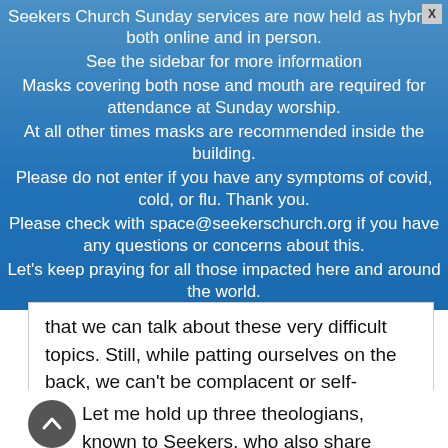Seekers Church Sunday services are now held as hybrid, both online and in person.
See the sidebar for more information
Masks covering both nose and mouth are required for attendance at Sunday worship.
At all other times masks are recommended inside the building.
Please do not enter if you have any symptoms of covid, cold, or flu. Thank you.
Please check with space@seekerschurch.org if you have any questions or concerns about this.
Let's keep praying for all those impacted here and around the world.
that we can talk about these very difficult topics. Still, while patting ourselves on the back, we can't be complacent or self-satisfied or believe that what we already are doing is enough. Because it's not and the stakes are very high.
Let me hold up three theologians, known to Seekers, who also share these concerns: